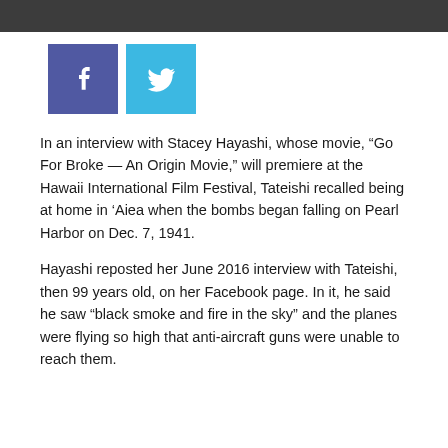[Figure (photo): Dark photograph banner at top of page]
[Figure (other): Social media share buttons: Facebook (blue-purple) and Twitter (light blue)]
In an interview with Stacey Hayashi, whose movie, “Go For Broke — An Origin Movie,” will premiere at the Hawaii International Film Festival, Tateishi recalled being at home in ‘Aiea when the bombs began falling on Pearl Harbor on Dec. 7, 1941.
Hayashi reposted her June 2016 interview with Tateishi, then 99 years old, on her Facebook page. In it, he said he saw “black smoke and fire in the sky” and the planes were flying so high that anti-aircraft guns were unable to reach them.